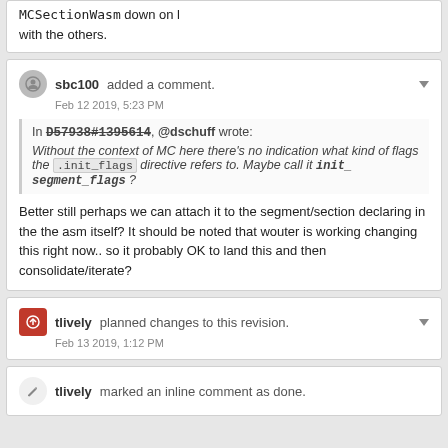MCSectionWasm down on l with the others.
sbc100 added a comment. Feb 12 2019, 5:23 PM
In D57938#1395614, @dschuff wrote: Without the context of MC here there's no indication what kind of flags the .init_flags directive refers to. Maybe call it init_segment_flags ?
Better still perhaps we can attach it to the segment/section declaring in the the asm itself? It should be noted that wouter is working changing this right now.. so it probably OK to land this and then consolidate/iterate?
tlively planned changes to this revision. Feb 13 2019, 1:12 PM
tlively marked an inline comment as done.